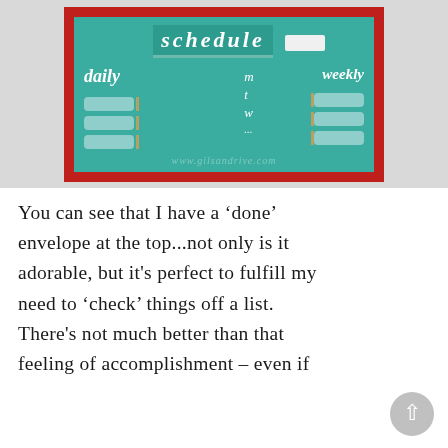[Figure (photo): A teal/turquoise scheduling board with a red decorative frame. The board shows 'schedule' text at the top, with 'daily' on the left and 'weekly' on the right. Small decorative tags with paper clips hang vertically. Days of the week letters (m, t, w) are visible in the center. A watermark reads 'www.gilsandrive.com' at the bottom.]
You can see that I have a 'done' envelope at the top...not only is it adorable, but it's perfect to fulfill my need to 'check' things off a list. There's not much better than that feeling of accomplishment – even if